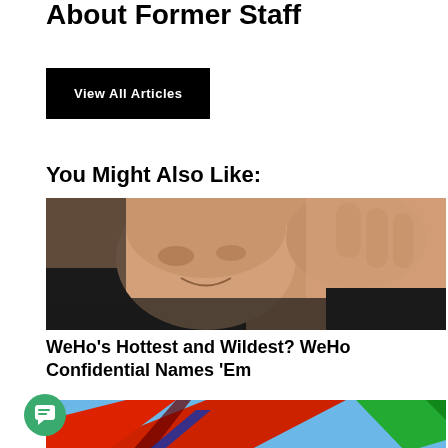About Former Staff
View All Articles
You Might Also Like:
[Figure (photo): Close-up photo of a bald man smiling, touching his ear with his hand, wearing dark clothing]
WeHo's Hottest and Wildest? WeHo Confidential Names 'Em
[Figure (photo): Colorful abstract architectural photo with red, blue and green panels against blue sky]